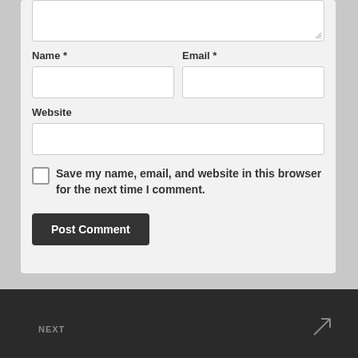[Figure (screenshot): Web comment form showing Name, Email, Website fields, a save checkbox, and Post Comment button on a light grey background]
Name *
Email *
Website
Save my name, email, and website in this browser for the next time I comment.
Post Comment
NEXT